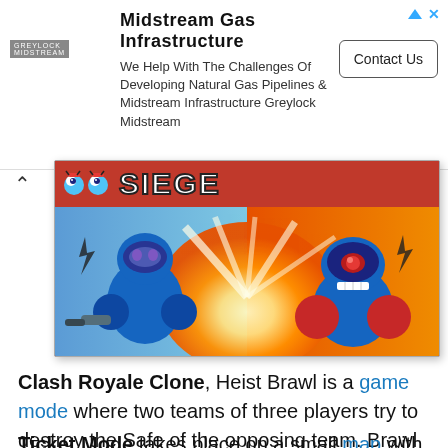[Figure (infographic): Advertisement banner for Midstream Gas Infrastructure by Greylock Midstream. Shows company logo, title 'Midstream Gas Infrastructure', body text 'We Help With The Challenges Of Developing Natural Gas Pipelines & Midstream Infrastructure Greylock Midstream', and a 'Contact Us' button.]
[Figure (illustration): Brawl Stars Siege game mode banner image showing two cartoon robot characters fighting. Red header bar with eyes icon and 'SIEGE' text in bold white letters. Background shows explosive battle scene with blue and orange colors.]
Clash Royale Clone, Heist Brawl is a game mode where two teams of three players try to destroy the Safe of the opposing team. Brawl Stars Heist Brawl is available for 24 hours in Brawl Box.
Ticket Mode takes place on a small map with only one